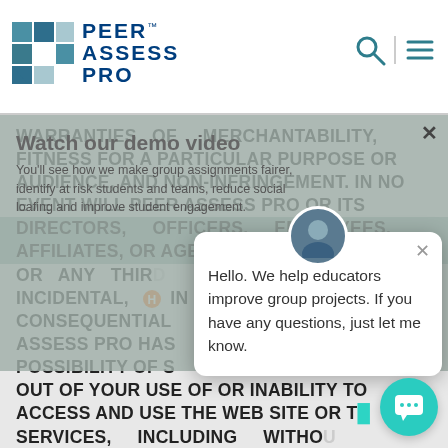[Figure (logo): Peer Assess Pro logo with teal/blue mosaic icon and bold text]
WARRANTIES OF MERCHANTABILITY, FITNESS FOR A PARTICULAR PURPOSE OR AUDIENCE, AND NON-INFRINGEMENT. IN NO EVENT WILL PEER ASSESS PRO OR ITS DIRECTORS, OFFICERS, EMPLOYEES, AFFILIATES, OR AGENTS BE LIABLE TO YOU OR ANY THIRD... INCIDENTAL, IN... CONSEQUENTIAL... ASSESS PRO HAS... POSSIBILITY OF S... OUT OF YOUR USE OF OR INABILITY TO ACCESS AND USE THE WEB SITE OR T... SERVICES, INCLUDING WITHO... LIMITATION, LOSS OF REVENUE OR
Watch our demo video
You'll see how we make group assignments fairer, identify at risk students and teams, reduce social loafing and improve student engagement.
Hello. We help educators improve group projects. If you have any questions, just let me know.